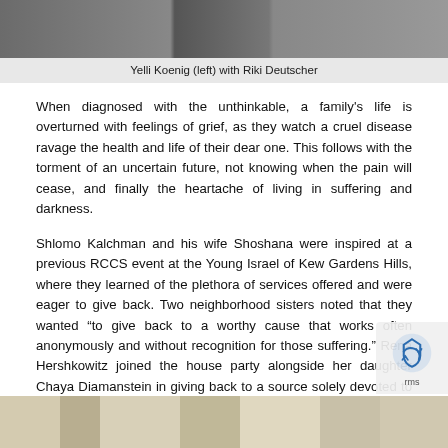[Figure (photo): Photo strip at top showing people, partially cropped]
Yelli Koenig (left) with Riki Deutscher
When diagnosed with the unthinkable, a family's life is overturned with feelings of grief, as they watch a cruel disease ravage the health and life of their dear one. This follows with the torment of an uncertain future, not knowing when the pain will cease, and finally the heartache of living in suffering and darkness.
Shlomo Kalchman and his wife Shoshana were inspired at a previous RCCS event at the Young Israel of Kew Gardens Hills, where they learned of the plethora of services offered and were eager to give back. Two neighborhood sisters noted that they wanted “to give back to a worthy cause that works often anonymously and without recognition for those suffering.” Rena Hershkowitz joined the house party alongside her daughter Chaya Diamanstein in giving back to a source solely devoted to helping patients heal.
[Figure (photo): Photo strip at bottom, partially visible, showing interior scene]